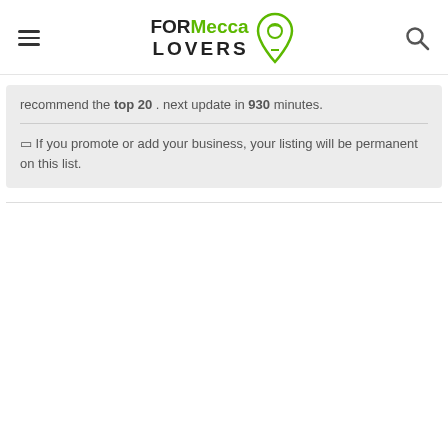FORMecca LOVERS
recommend the top 20 . next update in 930 minutes.
⬛ If you promote or add your business, your listing will be permanent on this list.